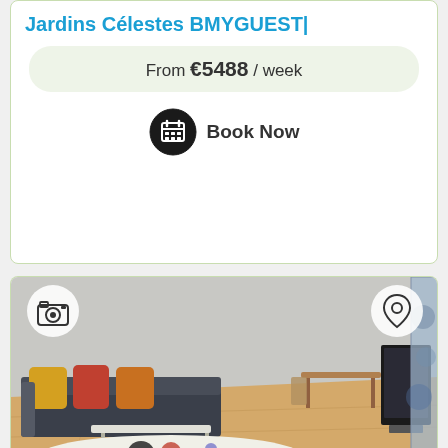Jardins Célestes BMYGUEST|
From €5488 / week
Book Now
[Figure (photo): Interior photo of apartment living room with dark sofa with orange and yellow pillows, colorful round rug on wooden floor, dining table in background, TV on right, blue curtains. Camera icon top-left, location pin icon top-right.]
Appartement Jelyad proche D|
Book Now